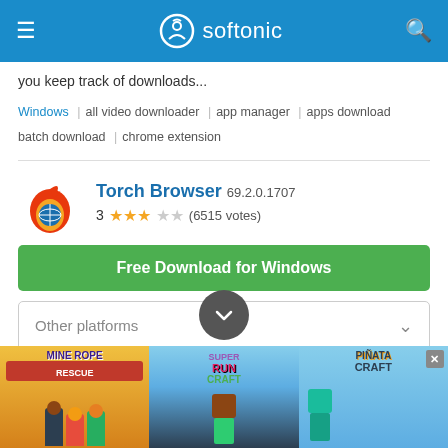softonic
you keep track of downloads...
Windows | all video downloader | app manager | apps download | batch download | chrome extension
Torch Browser 69.2.0.1707
3 ★★★☆☆ (6515 votes)
Free Download for Windows
Other platforms
A free and reliable web brow...
[Figure (screenshot): Advertisement banner showing three game thumbnails: Mine Rope Rescue, Super Run Craft, and Pinata Craft]